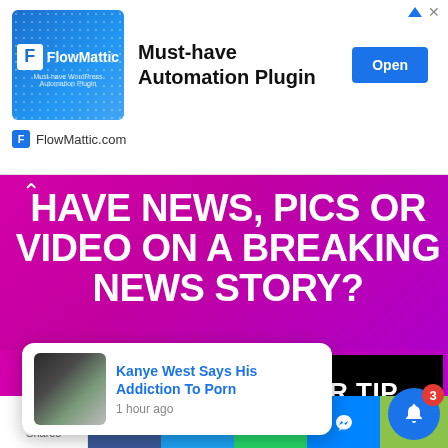[Figure (screenshot): FlowMattic advertisement banner with logo, 'Must-have Automation Plugin' text, and blue 'Open' button]
[Figure (infographic): Pink/magenta promotional banner: 'HAVE NEWS, PICS OR VIDEO ON A BREAKING NEWS STORY?' with 'SEND US YOUR TIP' in black box below]
[Figure (screenshot): Push notification popup showing Kanye West news article thumbnail with blue linked text 'Kanye West Says His Addiction To Porn' and timestamp '1 hour ago']
[Figure (screenshot): Social sharing bottom bar with Shares button, Facebook, Twitter, WhatsApp, and Messenger icons; blue notification bell with badge '3' and green corner]